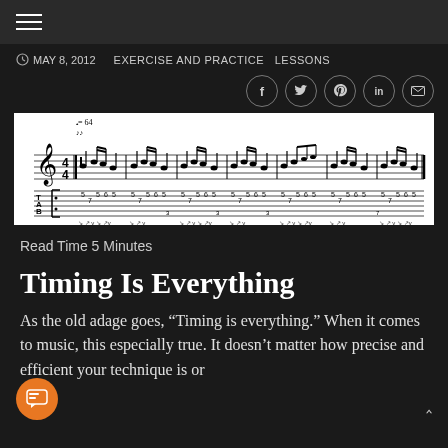Navigation menu bar
MAY 8, 2012   EXERCISE AND PRACTICE   LESSONS
[Figure (screenshot): Social sharing icons row: Facebook, Twitter, Pinterest, LinkedIn, Email — circular outline buttons]
[Figure (illustration): Guitar tablature and sheet music notation showing a rhythmic exercise pattern with tempo marking quarter note = 64, showing both standard notation and guitar tab with strumming patterns]
Read Time 5 Minutes
Timing Is Everything
As the old adage goes, “Timing is everything.” When it comes to music, this especially true. It doesn’t matter how precise and efficient your technique is or